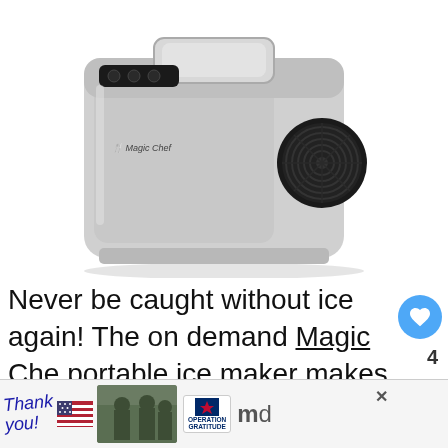[Figure (photo): Magic Chef portable ice maker machine in silver/stainless finish, viewed from front-left angle, with black control panel on top and circular vent on right side.]
Never be caught without ice again! The on demand Magic Che portable ice maker makes pounds of ice per day. This ice
[Figure (infographic): WHAT'S NEXT arrow widget showing thumbnail image of battery-powered fans article, labeled '10 Best Battery...']
[Figure (photo): Advertisement banner: 'Thank you!' with American flag imagery, soldiers photo, and Operation Gratitude logo with close X button.]